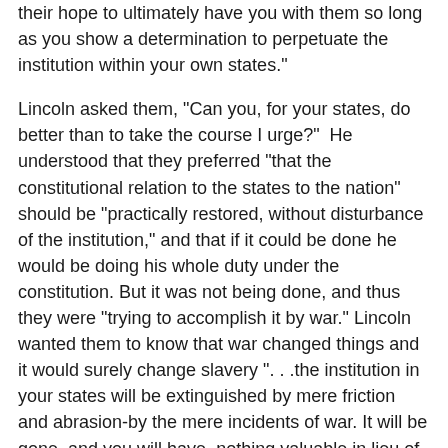their hope to ultimately have you with them so long as you show a determination to perpetuate the institution within your own states."
Lincoln asked them, "Can you, for your states, do better than to take the course I urge?"  He understood that they preferred "that the constitutional relation to the states to the nation" should be "practically restored, without disturbance of the institution," and that if it could be done he would be doing his whole duty under the constitution. But it was not being done, and thus they were "trying to accomplish it by war." Lincoln wanted them to know that war changed things and it would surely change slavery ". . .the institution in your states will be extinguished by mere friction and abrasion-by the mere incidents of war. It will be gone, and you will have  nothing valuable in lieu of it. Much of it's value is gone already."
With this clear he asked how much better would it be to do something to help end the war, end the bloodshed, and at the same time receive some remuneration for it? He did not call for "omancipation at once, but of a decision at once to